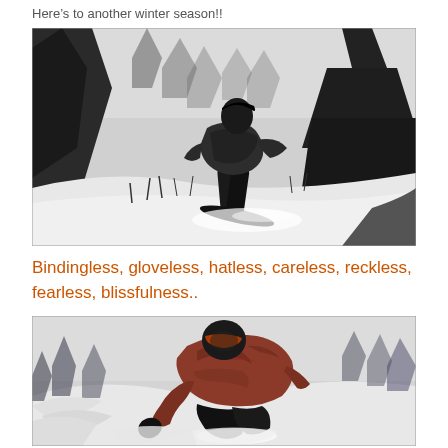Here’s to another winter season!!
[Figure (photo): Black and white photo of a snowboarder riding down a snowy slope with evergreen trees in the background and blowing snow.]
Bindingless, gloveless, hatless, careless, reckless, fearless, blissfulness..
[Figure (photo): Photo of a snowboarder in a red jacket crouching on a snowy surface with snow spray around them.]